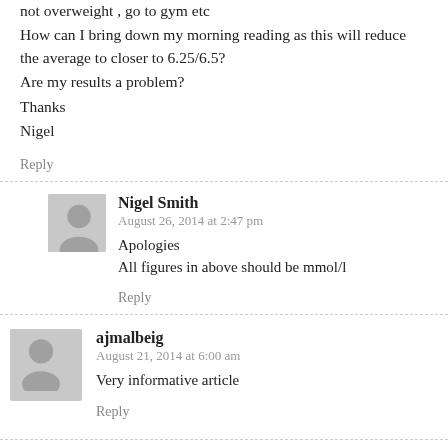not overweight , go to gym etc
How can I bring down my morning reading as this will reduce the average to closer to 6.25/6.5?
Are my results a problem?
Thanks
Nigel
Reply
Nigel Smith
August 26, 2014 at 2:47 pm
Apologies
All figures in above should be mmol/l
Reply
ajmalbeig
August 21, 2014 at 6:00 am
Very informative article
Reply